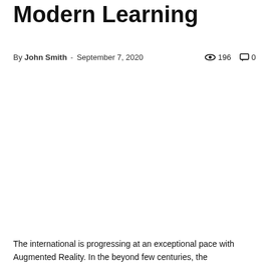Modern Learning
By John Smith - September 7, 2020  196  0
[Figure (photo): Large image area (blank/white) associated with the Modern Learning article]
The international is progressing at an exceptional pace with Augmented Reality. In the beyond few centuries, the